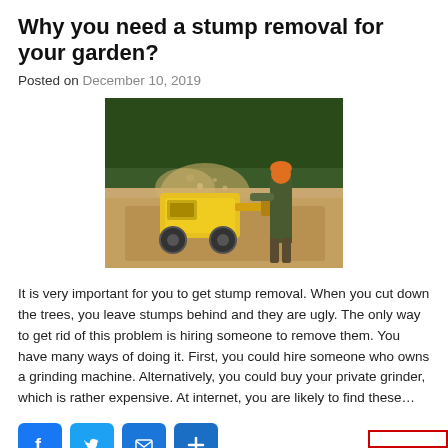Why you need a stump removal for your garden?
Posted on December 10, 2019
[Figure (photo): A worker wearing an orange helmet operates a yellow stump grinding machine outdoors, with dust and wood chips flying, surrounded by trees and sandy ground.]
It is very important for you to get stump removal. When you cut down the trees, you leave stumps behind and they are ugly. The only way to get rid of this problem is hiring someone to remove them. You have many ways of doing it. First, you could hire someone who owns a grinding machine. Alternatively, you could buy your private grinder, which is rather expensive. At internet, you are likely to find these...
[Figure (other): Social sharing buttons: Facebook, Twitter, Email, and a plus/more button, all in blue with rounded corners.]